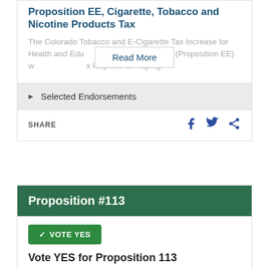Proposition EE, Cigarette, Tobacco and Nicotine Products Tax
The Colorado Tobacco and E-Cigarette Tax Increase for Health and Education Programs Measure (Proposition EE) w... loophole on vaping
Read More
▶ Selected Endorsements
SHARE
Proposition #113
✓ VOTE YES
Vote YES for Proposition 113
Proposition 113, National Popular Vote